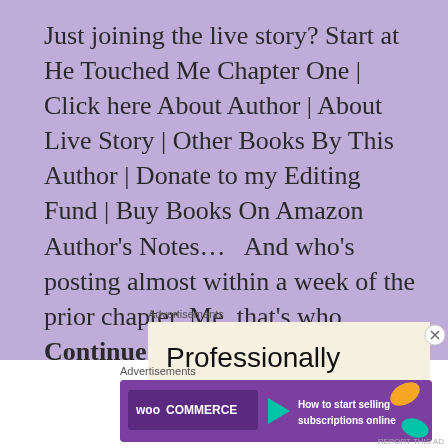Just joining the live story? Start at He Touched Me Chapter One | Click here About Author | About Live Story | Other Books By This Author | Donate to my Editing Fund | Buy Books On Amazon Author's Notes…   And who's posting almost within a week of the prior chapter. Me, that's who. … Continue reading
Advertisements
[Figure (screenshot): Advertisement banner showing 'Professionally designed sites in less' on a cream/beige background]
Advertisements
[Figure (logo): WooCommerce advertisement banner with purple background, teal arrow, orange leaf, text 'How to start selling subscriptions online']